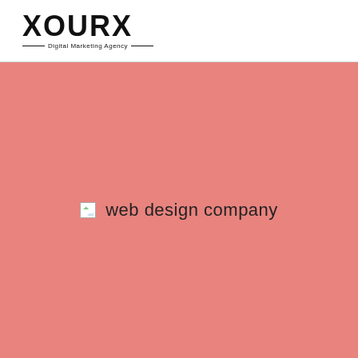[Figure (logo): XOURX Digital Marketing Agency logo with bold text and tagline between horizontal lines]
[Figure (photo): Salmon/coral pink background with a broken image placeholder icon and alt text 'web design company']